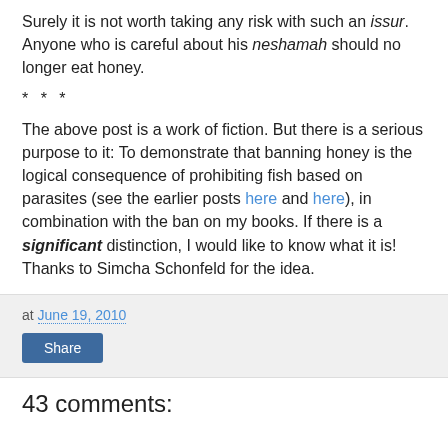Surely it is not worth taking any risk with such an issur. Anyone who is careful about his neshamah should no longer eat honey.
* * *
The above post is a work of fiction. But there is a serious purpose to it: To demonstrate that banning honey is the logical consequence of prohibiting fish based on parasites (see the earlier posts here and here), in combination with the ban on my books. If there is a significant distinction, I would like to know what it is! Thanks to Simcha Schonfeld for the idea.
at June 19, 2010
Share
43 comments: